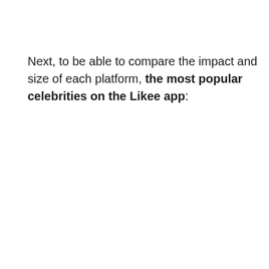Next, to be able to compare the impact and size of each platform, the most popular celebrities on the Likee app: